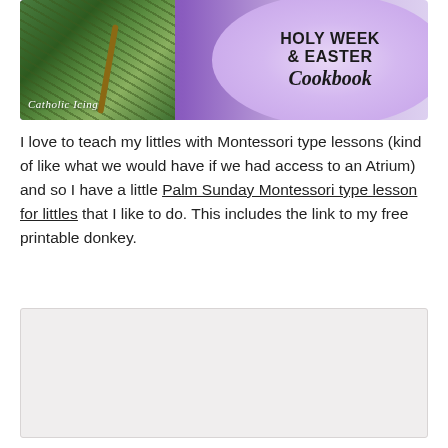[Figure (illustration): Catholic Icing Holy Week & Easter Cookbook banner image. Purple/lavender background with palm fronds on the left side and a lavender circle containing bold text 'HOLY WEEK & EASTER Cookbook'. Script text 'Catholic Icing' at bottom left.]
I love to teach my littles with Montessori type lessons (kind of like what we would have if we had access to an Atrium) and so I have a little Palm Sunday Montessori type lesson for littles that I like to do. This includes the link to my free printable donkey.
[Figure (other): Grey placeholder box (light grey rectangle with slightly darker inner area), likely representing an embedded image or advertisement that has not loaded.]